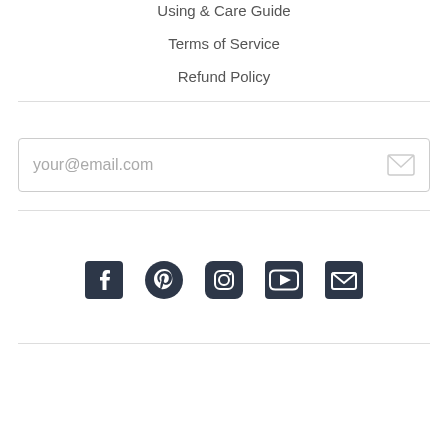Using & Care Guide
Terms of Service
Refund Policy
your@email.com
[Figure (infographic): Social media icons: Facebook, Pinterest, Instagram, YouTube, Email]